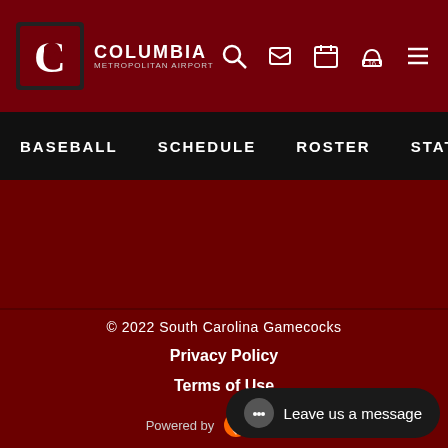[Figure (logo): South Carolina Gamecocks logo with Columbia Metropolitan Airport sponsor]
BASEBALL   SCHEDULE   ROSTER   STATS   MORE
© 2022 South Carolina Gamecocks
Privacy Policy
Terms of Use
Powered by
Leave us a message